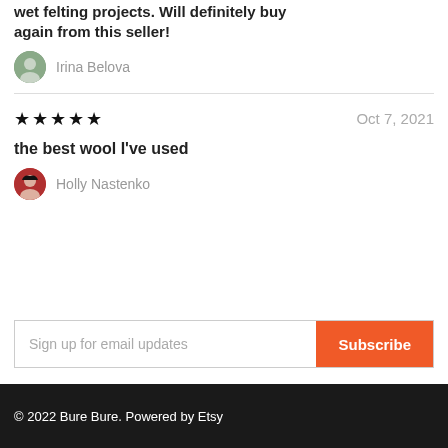wet felting projects. Will definitely buy again from this seller!
Irina Belova
★★★★★  Oct 7, 2021
the best wool I've used
Holly Nastenko
Sign up for email updates
Subscribe
© 2022 Bure Bure. Powered by Etsy